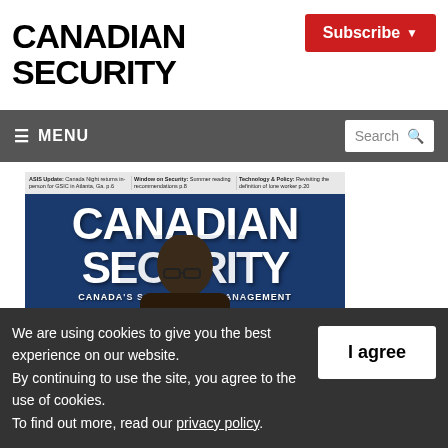CANADIAN SECURITY
Subscribe
≡ MENU   Search
[Figure (photo): Canadian Security magazine cover showing a man with glasses against a blue background with the large text CANADIAN SECURITY and subtitle CANADA'S SOURCE FOR SECURITY MANAGEMENT, SUMMER 2022]
We are using cookies to give you the best experience on our website.
By continuing to use the site, you agree to the use of cookies.
To find out more, read our privacy policy.
I agree